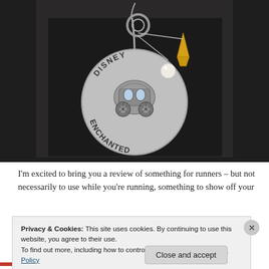[Figure (photo): Close-up photo of a silver Disney Enchanted charm pendant necklace on a dark background. The circular disc is stamped with 'DISNEY' on top and 'ENCHANTED' on the bottom, with a 3D Cinderella carriage charm attached. Additional charms visible include a chain link, pearl bead, and yellow crystal charm.]
I'm excited to bring you a review of something for runners – but not necessarily to use while you're running, something to show off your
Privacy & Cookies: This site uses cookies. By continuing to use this website, you agree to their use.
To find out more, including how to control cookies, see here: Cookie Policy
Close and accept